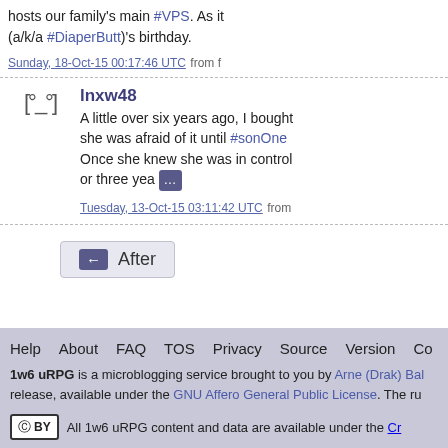hosts our family's main #VPS. As it (a/k/a #DiaperButt)'s birthday.
Sunday, 18-Oct-15 00:17:46 UTC from f
lnxw48
A little over six years ago, I bought she was afraid of it until #sonOne Once she knew she was in control or three yea ...
Tuesday, 13-Oct-15 03:11:42 UTC from
After
Help   About   FAQ   TOS   Privacy   Source   Version   Co
1w6 uRPG is a microblogging service brought to you by Arne (Drak) Bal release, available under the GNU Affero General Public License. The ru
(cc) BY   All 1w6 uRPG content and data are available under the Cr